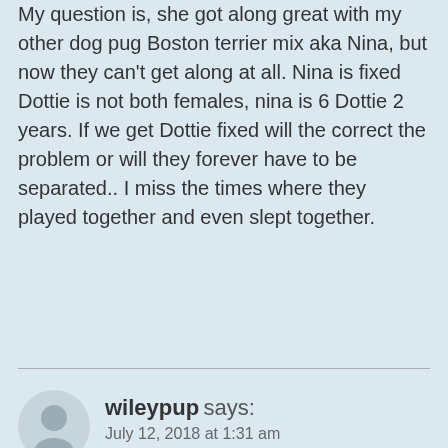Playful needy and prances like a show horse. My question is, she got along great with my other dog pug Boston terrier mix aka Nina, but now they can't get along at all. Nina is fixed Dottie is not both females, nina is 6 Dottie 2 years. If we get Dottie fixed will the correct the problem or will they forever have to be separated.. I miss the times where they played together and even slept together.
Reply
wileypup says:
July 12, 2018 at 1:31 am